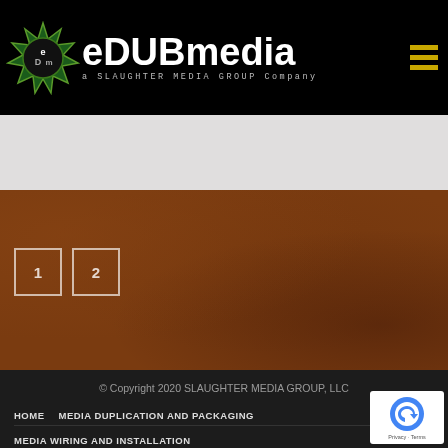[Figure (logo): eDUBmedia logo with star burst icon and text 'a SLAUGHTER MEDIA GROUP Company' on black background with hamburger menu icon]
[Figure (other): Light gray/white band below header]
[Figure (other): Brown textured content area with pagination buttons '1' and '2']
© Copyright 2020 SLAUGHTER MEDIA GROUP, LLC
HOME   MEDIA DUPLICATION AND PACKAGING
MEDIA WIRING AND INSTALLATION
MEDIA PRODUCTION AND TECHNICAL SUPPORT   Privacy Policy
[Figure (other): Google reCAPTCHA badge with logo and 'Privacy · Terms' text]